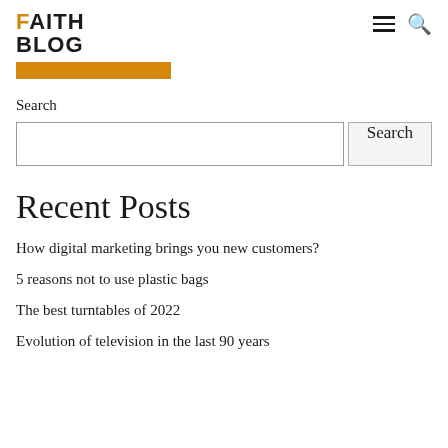FAITH BLOG
[Figure (other): Orange decorative bar below logo]
Search
[Figure (other): Search input box with Search button]
Recent Posts
How digital marketing brings you new customers?
5 reasons not to use plastic bags
The best turntables of 2022
Evolution of television in the last 90 years